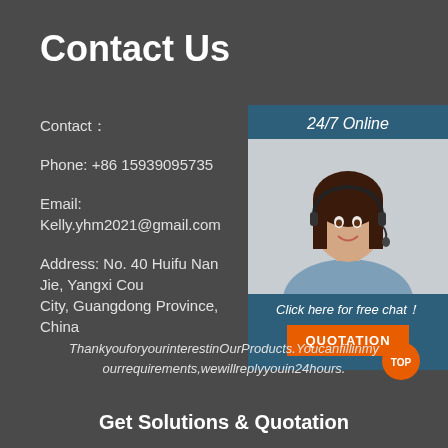Contact Us
Contact：
Phone: +86 15939095735
Email: Kelly.yhm2021@gmail.com
Address: No. 40 Huifu Nan Jie, Yangxi County City, Guangdong Province, China
[Figure (photo): Customer service agent with headset, smiling, with 24/7 Online label, Click here for free chat text, and QUOTATION button]
ThankyouforyourinterestinOurProducts.Youcanfillin your requirements,wewillreplyyouin24hours.
Get Solutions & Quotation